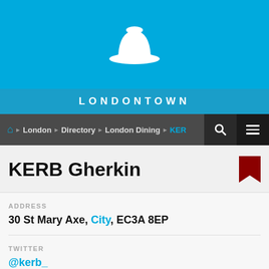[Figure (logo): White bowler hat icon on cyan/blue background — LondonTown logo]
LONDONTOWN
Home > London > Directory > London Dining > KERB
KERB Gherkin
ADDRESS
30 St Mary Axe, City, EC3A 8EP
TWITTER
@kerb_
OPENING TIMES
Thu 12noon-2pm